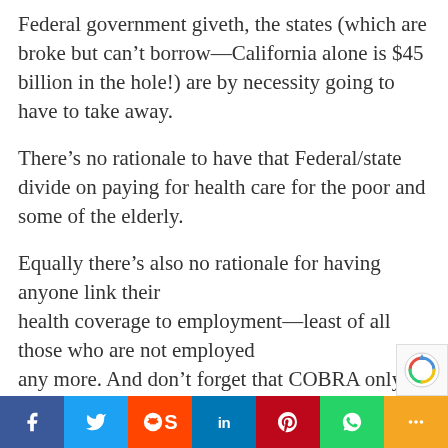Federal government giveth, the states (which are broke but can’t borrow—California alone is $45 billion in the hole!) are by necessity going to have to take away.
There’s no rationale to have that Federal/state divide on paying for health care for the poor and some of the elderly.
Equally there’s also no rationale for having anyone link their health coverage to employment—least of all those who are not employed any more. And don’t forget that COBRA only applies to those who have a program to buy into. In other words it doesn’t app…